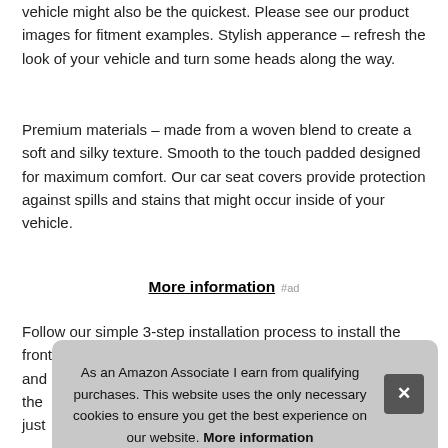vehicle might also be the quickest. Please see our product images for fitment examples. Stylish apperance – refresh the look of your vehicle and turn some heads along the way.
Premium materials – made from a woven blend to create a soft and silky texture. Smooth to the touch padded designed for maximum comfort. Our car seat covers provide protection against spills and stains that might occur inside of your vehicle.
More information #ad
Follow our simple 3-step installation process to install the front sea and the just
As an Amazon Associate I earn from qualifying purchases. This website uses the only necessary cookies to ensure you get the best experience on our website. More information